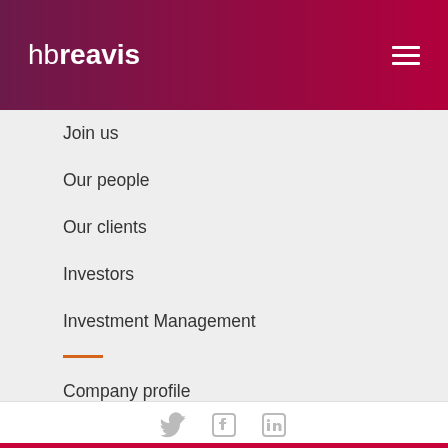hbreavis
Join us
Our people
Our clients
Investors
Investment Management
Company profile
Annual report
Awards
UX Bubbles
Universe of Well-being
Social Media
Social media icons: Twitter, Facebook, LinkedIn